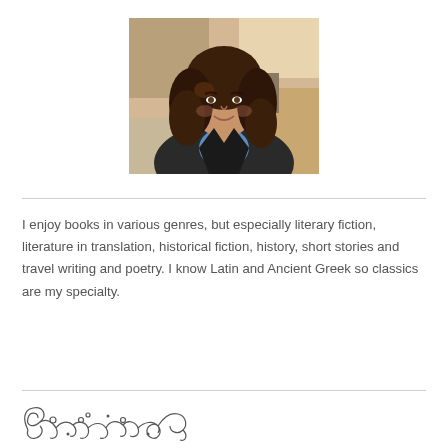[Figure (photo): Portrait photo of a young woman with long curly dark brown hair, wearing a blue top and black jacket, seated in what appears to be a classroom or office setting.]
I enjoy books in various genres, but especially literary fiction, literature in translation, historical fiction, history, short stories and travel writing and poetry. I know Latin and Ancient Greek so classics are my specialty.
[Figure (illustration): Decorative ornamental flourish divider with scrollwork and floral motifs in dark ink.]